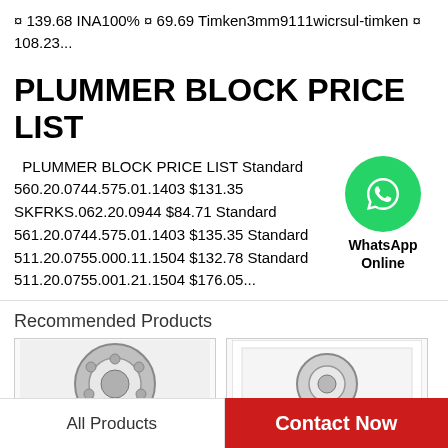¤ 139.68 INA100% ¤ 69.69 Timken3mm9111wicrsultimken ¤ 108.23...
PLUMMER BLOCK PRICE LIST
PLUMMER BLOCK PRICE LIST Standard 560.20.0744.575.01.1403 $131.35 SKFRKS.062.20.0944 $84.71 Standard 561.20.0744.575.01.1403 $135.35 Standard 511.20.0755.000.11.1504 $132.78 Standard 511.20.0755.001.21.1504 $176.05...
[Figure (logo): WhatsApp Online green circle icon with phone handset, labeled WhatsApp Online]
Recommended Products
[Figure (photo): Ball bearing product image - gray self-aligning ball bearing]
[Figure (photo): Ball bearing product image - smaller bearing partially visible]
All Products
Contact Now